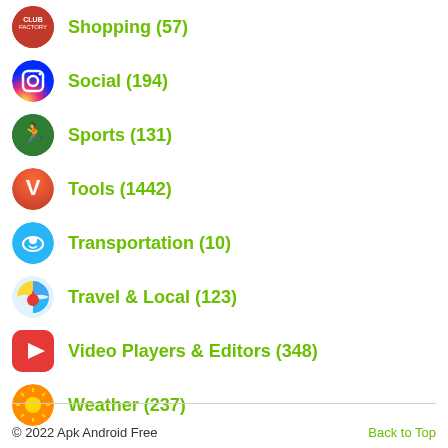Shopping (57)
Social (194)
Sports (131)
Tools (1442)
Transportation (10)
Travel & Local (123)
Video Players & Editors (348)
Weather (237)
© 2022 Apk Android Free    Back to Top